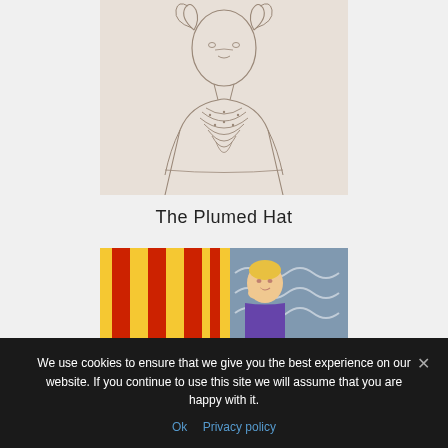[Figure (illustration): A pencil sketch/drawing of a woman with curly hair wearing a blouse with decorative neckline, shown from the bust up. The style appears to be a classical figure drawing.]
The Plumed Hat
[Figure (illustration): A colorful painting showing a woman with blonde hair against a background of yellow and red vertical stripes on the left and a blue/grey wavy pattern on the right.]
We use cookies to ensure that we give you the best experience on our website. If you continue to use this site we will assume that you are happy with it.
Ok   Privacy policy